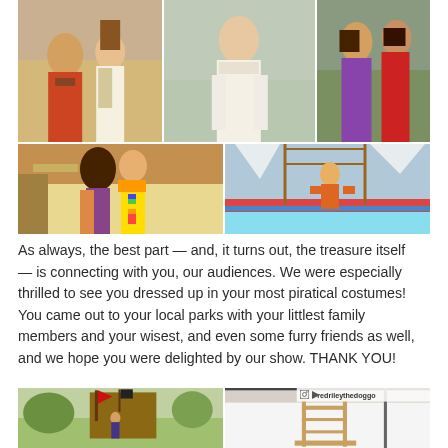[Figure (photo): Collage of pirate performers in costume at an outdoor event. Top row: left photo shows two performers in pirate costumes one holding a scroll, center photo shows a woman in white pirate blouse, right photo shows two performers in ornate pirate costumes. Second row: left photo shows two performers embracing on a pirate ship set, right photo shows a performer doing an acrobatic stunt on rigging.]
As always, the best part — and, it turns out, the treasure itself — is connecting with you, our audiences. We were especially thrilled to see you dressed up in your most piratical costumes! You came out to your local parks with your littlest family members and your wisest, and even some furry friends as well, and we hope you were delighted by our show. THANK YOU!
[Figure (photo): Bottom collage: left photo shows a pirate ship stage set in a park with a flag, right photo shows an Instagram post from redriileythedoggo showing a wooden chair/ladder structure with white tent backdrop.]